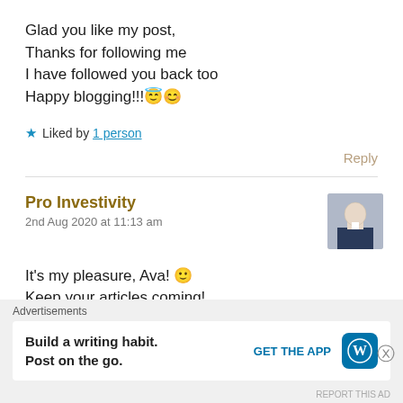Glad you like my post,
Thanks for following me
I have followed you back too
Happy blogging!!!😇😊
★ Liked by 1 person
Reply
Pro Investivity
2nd Aug 2020 at 11:13 am
[Figure (photo): Small avatar photo of Pro Investivity, a person in dark jacket]
It's my pleasure, Ava! 🙂
Keep your articles coming!
Advertisements
Build a writing habit. Post on the go. GET THE APP [WordPress logo]